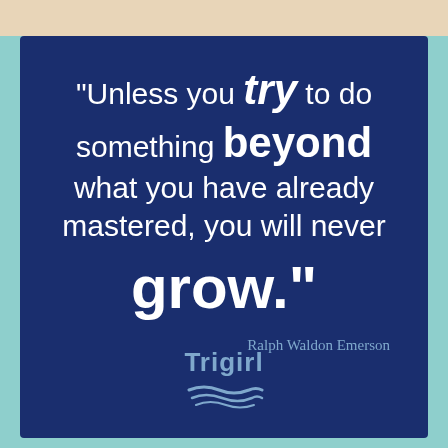[Figure (illustration): Motivational quote card with dark navy blue background and teal border. Quote reads: 'Unless you try to do something beyond what you have already mastered, you will never grow.' attributed to Ralph Waldon Emerson. Trigirl logo at bottom with wave graphic.]